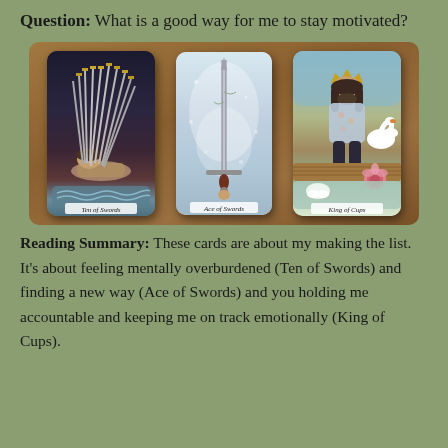Question: What is a good way for me to stay motivated?
[Figure (photo): Three tarot cards laid on a wooden table: Ten of Swords (left), Ace of Swords (center), King of Cups (right).]
Reading Summary: These cards are about my making the list. It's about feeling mentally overburdened (Ten of Swords) and finding a new way (Ace of Swords) and you holding me accountable and keeping me on track emotionally (King of Cups).